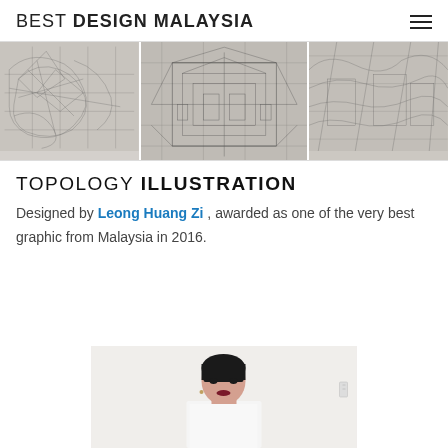BEST DESIGN MALAYSIA
[Figure (illustration): Three panel black-and-white detailed illustration strip showing architectural/city scenes from aerial perspective]
TOPOLOGY ILLUSTRATION
Designed by Leong Huang Zi , awarded as one of the very best graphic from Malaysia in 2016.
[Figure (photo): Portrait photo of a woman with short dark hair and bangs, facing forward, wearing white, against a light background]